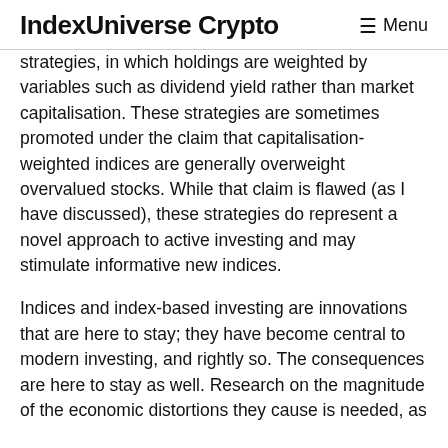IndexUniverse Crypto   ≡ Menu
strategies, in which holdings are weighted by variables such as dividend yield rather than market capitalisation. These strategies are sometimes promoted under the claim that capitalisation-weighted indices are generally overweight overvalued stocks. While that claim is flawed (as I have discussed), these strategies do represent a novel approach to active investing and may stimulate informative new indices.
Indices and index-based investing are innovations that are here to stay; they have become central to modern investing, and rightly so. The consequences are here to stay as well. Research on the magnitude of the economic distortions they cause is needed, as